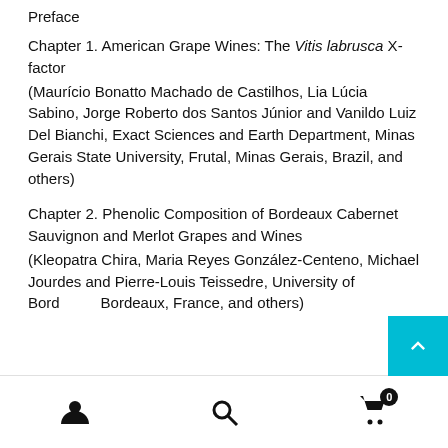Preface
Chapter 1. American Grape Wines: The Vitis labrusca X-factor
(Maurício Bonatto Machado de Castilhos, Lia Lúcia Sabino, Jorge Roberto dos Santos Júnior and Vanildo Luiz Del Bianchi, Exact Sciences and Earth Department, Minas Gerais State University, Frutal, Minas Gerais, Brazil, and others)
Chapter 2. Phenolic Composition of Bordeaux Cabernet Sauvignon and Merlot Grapes and Wines
(Kleopatra Chira, Maria Reyes González-Centeno, Michael Jourdes and Pierre-Louis Teissedre, University of Bordeaux, Bordeaux, France, and others)